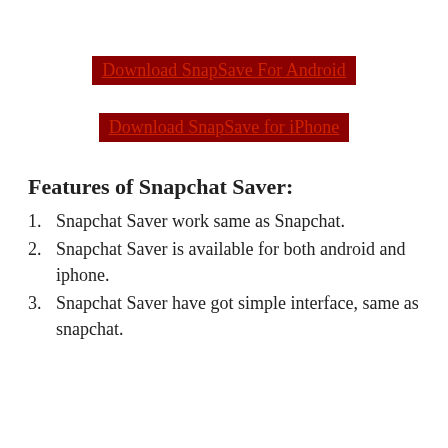Download SnapSave For Android
Download SnapSave for iPhone
Features of Snapchat Saver:
Snapchat Saver work same as Snapchat.
Snapchat Saver is available for both android and iphone.
Snapchat Saver have got simple interface, same as snapchat.